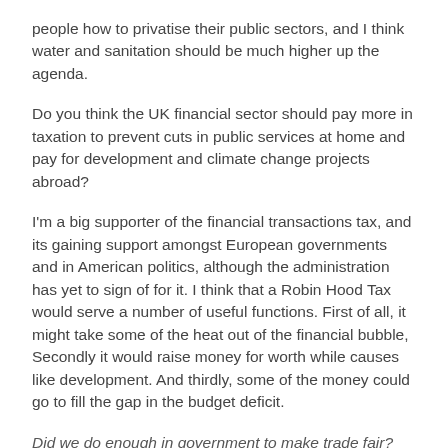people how to privatise their public sectors, and I think water and sanitation should be much higher up the agenda.
Do you think the UK financial sector should pay more in taxation to prevent cuts in public services at home and pay for development and climate change projects abroad?
I'm a big supporter of the financial transactions tax, and its gaining support amongst European governments and in American politics, although the administration has yet to sign of for it. I think that a Robin Hood Tax would serve a number of useful functions. First of all, it might take some of the heat out of the financial bubble, Secondly it would raise money for worth while causes like development. And thirdly, some of the money could go to fill the gap in the budget deficit.
Did we do enough in government to make trade fair?